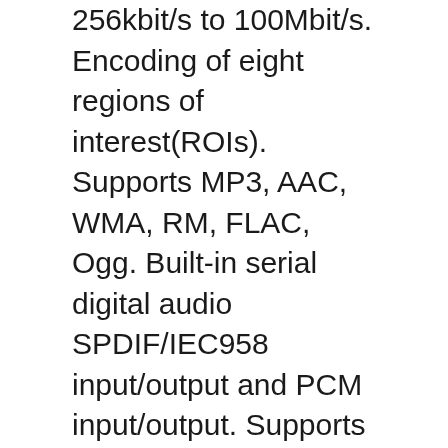256kbit/s to 100Mbit/s. Encoding of eight regions of interest(ROIs). Supports MP3, AAC, WMA, RM, FLAC, Ogg. Built-in serial digital audio SPDIF/IEC958 input/output and PCM input/output. Supports 1 audio output interface (differential LINEOUTP/N or single-end LINEOUTL/LINEOUTR). One Audio HUB, supporting internal mixing function. Embedded 3 I2S/PCM (I2S0 for extended audio codec, I2S2 for BT, I2S3 for digital power amplifier). Supports Left-justified, Right-justified, Standard I2S mode, PCM mode, and TDM mode. I2S mode supports 8 channels, and 32-bit/192kbit sample rate. I2S and TDM modes support maximum 16 channels, and 32-bit/96kbit sample rate. One OWA OUT interface, supporting 16-/20-/24-bit inputs and outputs. Integrated digital microphone(DMIC), supporting maximum 8 digital PDM microphones. English French German Spanish Italian etc multilateral languages. Local Media playback, Support HDD, U Disck , TF